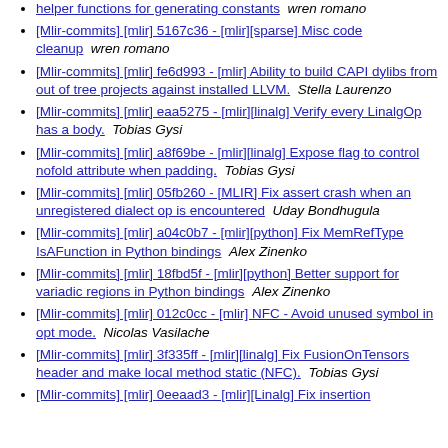helper functions for generating constants   wren romano
[Mlir-commits] [mlir] 5167c36 - [mlir][sparse] Misc code cleanup   wren romano
[Mlir-commits] [mlir] fe6d993 - [mlir] Ability to build CAPI dylibs from out of tree projects against installed LLVM.   Stella Laurenzo
[Mlir-commits] [mlir] eaa5275 - [mlir][linalg] Verify every LinalgOp has a body.   Tobias Gysi
[Mlir-commits] [mlir] a8f69be - [mlir][linalg] Expose flag to control nofold attribute when padding.   Tobias Gysi
[Mlir-commits] [mlir] 05fb260 - [MLIR] Fix assert crash when an unregistered dialect op is encountered   Uday Bondhugula
[Mlir-commits] [mlir] a04c0b7 - [mlir][python] Fix MemRefType IsAFunction in Python bindings   Alex Zinenko
[Mlir-commits] [mlir] 18fbd5f - [mlir][python] Better support for variadic regions in Python bindings   Alex Zinenko
[Mlir-commits] [mlir] 012c0cc - [mlir] NFC - Avoid unused symbol in opt mode.   Nicolas Vasilache
[Mlir-commits] [mlir] 3f335ff - [mlir][linalg] Fix FusionOnTensors header and make local method static (NFC).   Tobias Gysi
[Mlir-commits] [mlir] 0eeaad3 - [mlir][Linalg] Fix insertion